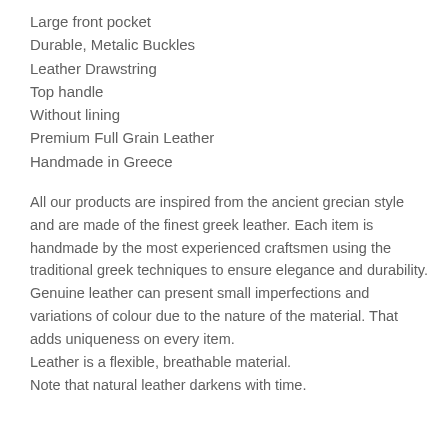Large front pocket
Durable, Metalic Buckles
Leather Drawstring
Top handle
Without lining
Premium Full Grain Leather
Handmade in Greece
All our products are inspired from the ancient grecian style and are made of the finest greek leather. Each item is handmade by the most experienced craftsmen using the traditional greek techniques to ensure elegance and durability. Genuine leather can present small imperfections and variations of colour due to the nature of the material. That adds uniqueness on every item. Leather is a flexible, breathable material. Note that natural leather darkens with time.